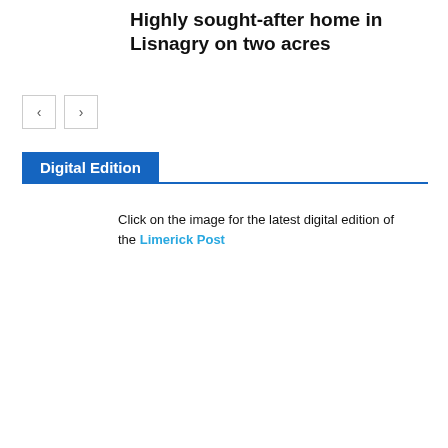Highly sought-after home in Lisnagry on two acres
[Figure (other): Navigation previous and next arrow buttons]
Digital Edition
Click on the image for the latest digital edition of the Limerick Post